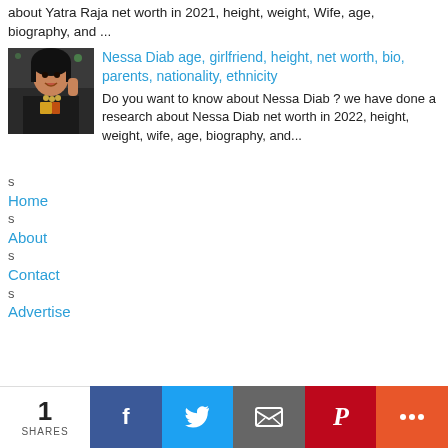about Yatra Raja net worth in 2021, height, weight, Wife, age, biography, and ...
[Figure (photo): Thumbnail photo of Nessa Diab, a woman in dark clothing with jewelry, making a hand gesture]
Nessa Diab age, girlfriend, height, net worth, bio, parents, nationality, ethnicity
Do you want to know about Nessa Diab ? we have done a research about Nessa Diab net worth in 2022, height, weight, wife, age, biography, and...
s
Home
s
About
s
Contact
s
Advertise
1 SHARES | Facebook | Twitter | Email | Pinterest | More